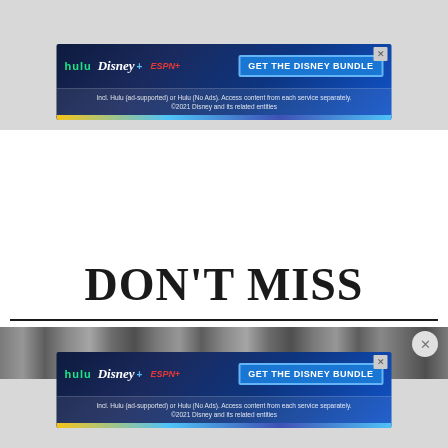[Figure (screenshot): Disney Bundle advertisement banner with Hulu, Disney+, and ESPN+ logos and 'GET THE DISNEY BUNDLE' call-to-action button, with subtext about Hulu ad-supported options and ©2021 Disney copyright]
DON'T MISS
[Figure (photo): Black and white image strip showing partial outdoor/nature scene, likely a movie or TV show thumbnail]
[Figure (screenshot): Disney Bundle advertisement banner (duplicate) with Hulu, Disney+, and ESPN+ logos and 'GET THE DISNEY BUNDLE' call-to-action button]